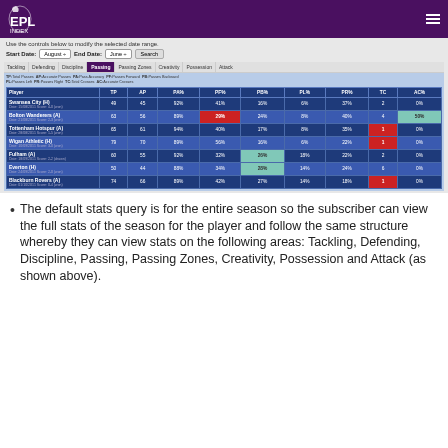EPL Index
[Figure (screenshot): EPL Index stats interface showing Passing statistics table with columns TP, AP, PA%, PF%, PB%, PL%, PR%, TC, AC% for matches including Swansea City (H), Bolton Wanderers (A), Tottenham Hotspur (A), Wigan Athletic (H), Fulham (A), Everton (H), Blackburn Rovers (A). Date range controls with Start Date: August, End Date: June, Search button. Navigation tabs: Tackling, Defending, Discipline, Passing (active), Passing Zones, Creativity, Possession, Attack.]
The default stats query is for the entire season so the subscriber can view the full stats of the season for the player and follow the same structure whereby they can view stats on the following areas: Tackling, Defending, Discipline, Passing, Passing Zones, Creativity, Possession and Attack (as shown above).